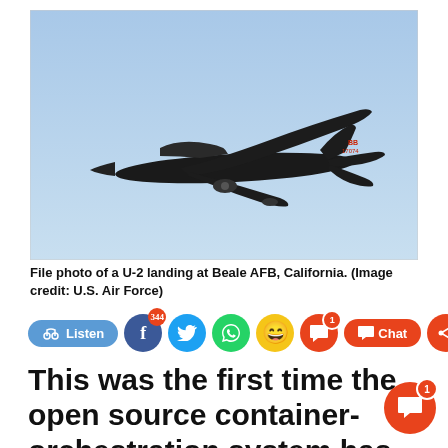[Figure (photo): A black U-2 spy plane flying in a clear blue sky, viewed from below-side angle. The tail shows markings 'BB' and '17074'. The aircraft has long wings and a distinctive reconnaissance plane silhouette.]
File photo of a U-2 landing at Beale AFB, California. (Image credit: U.S. Air Force)
[Figure (infographic): Social media sharing bar with Listen button, Facebook (344 shares), Twitter, WhatsApp, emoji reaction, comment (1), Chat button, and share button icons.]
This was the first time the open source container-orchestration system has flown on an